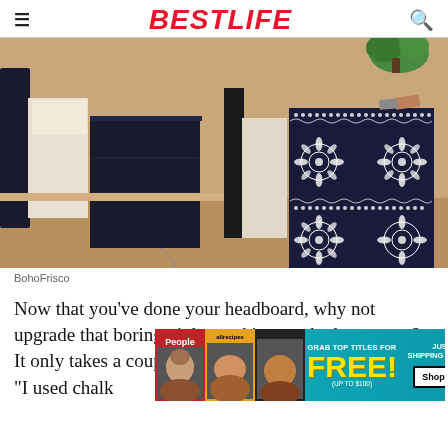BESTLIFE
[Figure (photo): Before and after photos of a nightstand: left shows a plain dark navy nightstand, right shows the same nightstand decorated with intricate white Bohemian/Indian pattern painted on it, with a plant on top.]
BohoFrisco
Now that you've done your headboard, why not upgrade that boring nightstand in your bedroom, too? It only takes a couple hours to create a custom piece. "I used chalk look for a f
[Figure (infographic): Advertisement banner: Grab top titles for FREE! (up to $100) Just pay shipping & handling. Shop Now. Features People and allrecipes magazine covers.]